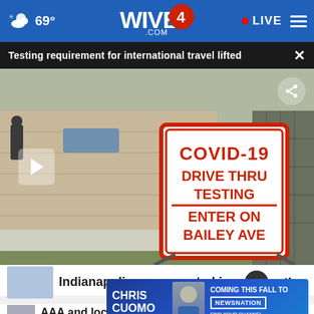WIVB4.COM · 69° · LIVE
Testing requirement for international travel lifted
[Figure (photo): COVID-19 Drive Thru Testing Enter on Bailey Ave sign outside a building, with a play button overlay indicating a video]
Indianapolis man arrested in shooting
[Figure (infographic): Chris Cuomo Coming This Fall to NewsNation advertisement banner]